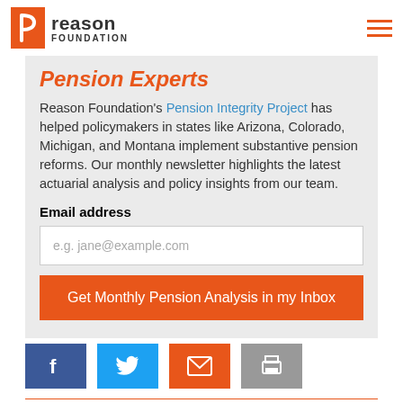Reason Foundation
Pension Experts
Reason Foundation's Pension Integrity Project has helped policymakers in states like Arizona, Colorado, Michigan, and Montana implement substantive pension reforms. Our monthly newsletter highlights the latest actuarial analysis and policy insights from our team.
Email address
e.g. jane@example.com
Get Monthly Pension Analysis in my Inbox
[Figure (infographic): Social share buttons: Facebook, Twitter, Email, Print]
MORE FROM HEALTH CARE, PENSION